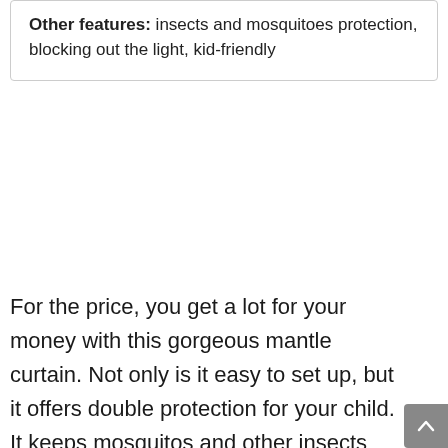Other features: insects and mosquitoes protection, blocking out the light, kid-friendly
For the price, you get a lot for your money with this gorgeous mantle curtain. Not only is it easy to set up, but it offers double protection for your child. It keeps mosquitos and other insects out with dense netting and blocks the light with a curtain feature. Kids will love their gorgeous little den whilst parents can enjoy the fact their child's sleep will benefit from the doubly beneficial den